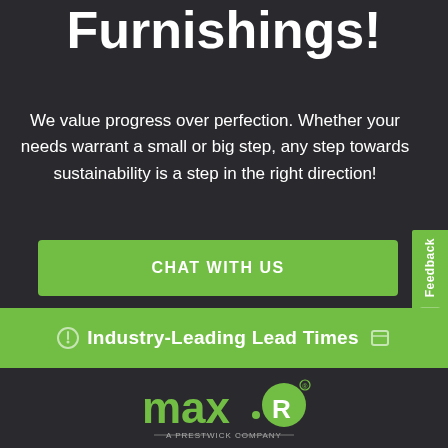Furnishings!
We value progress over perfection. Whether your needs warrant a small or big step, any step towards sustainability is a step in the right direction!
CHAT WITH US
Feedback
Industry-Leading Lead Times
[Figure (logo): max·R A Prestwick Company logo in green and white on dark background]